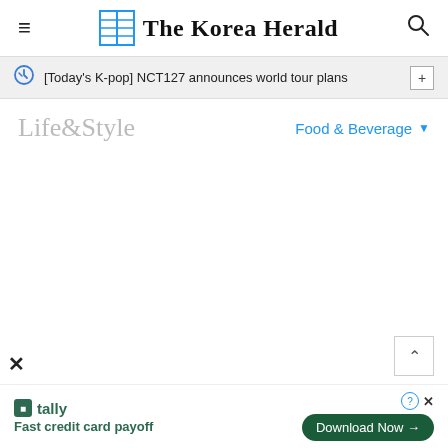The Korea Herald
[Today's K-pop] NCT127 announces world tour plans
Life&Style
Food & Beverage
[Figure (photo): Image area (white/empty) for article photo about Coconut Bingsu]
Coconut Bingsu is served in a coconut-shaped bowl, topped with soft coconut gelato and
[Figure (other): Advertisement banner: Tally - Fast credit card payoff, with Download Now button]